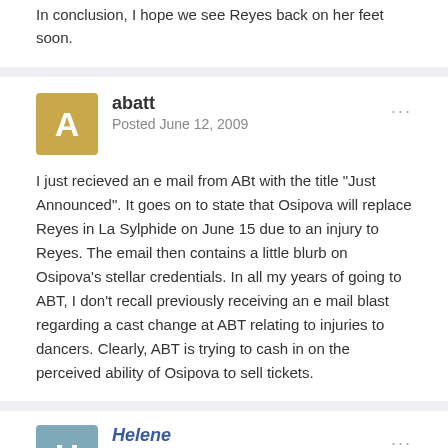In conclusion, I hope we see Reyes back on her feet soon.
abatt
Posted June 12, 2009
I just recieved an e mail from ABt with the title "Just Announced". It goes on to state that Osipova will replace Reyes in La Sylphide on June 15 due to an injury to Reyes. The email then contains a little blurb on Osipova's stellar credentials. In all my years of going to ABT, I don't recall previously receiving an e mail blast regarding a cast change at ABT relating to injuries to dancers. Clearly, ABT is trying to cash in on the perceived ability of Osipova to sell tickets.
Helene
Posted June 12, 2009
Maybe they read the lamentations here when Osipova was pulled